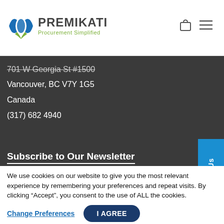PREMIKATI Procurement Simplified
701 W Georgia St #1500
Vancouver, BC V7Y 1G5
Canada
(317) 682 4940
Subscribe to Our Newsletter
We use cookies on our website to give you the most relevant experience by remembering your preferences and repeat visits. By clicking “Accept”, you consent to the use of ALL the cookies.
Do not sell my personal information.
Change Preferences
I AGREE